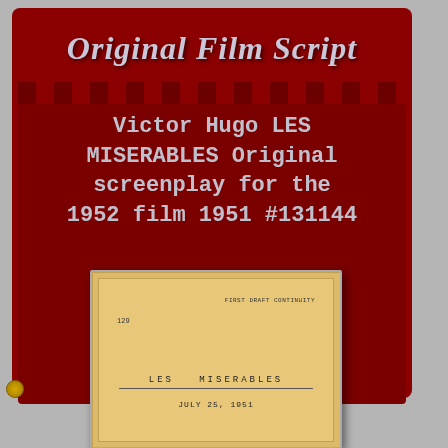Original Film Script
Victor Hugo LES MISERABLES Original screenplay for the 1952 film 1951 #131144
[Figure (photo): Photo of an original orange-covered screenplay for Les Miserables, showing cover text 'FIRST DRAFT CONTINUITY', number '129', title 'LES MISERABLES', and date 'JULY 25, 1951']